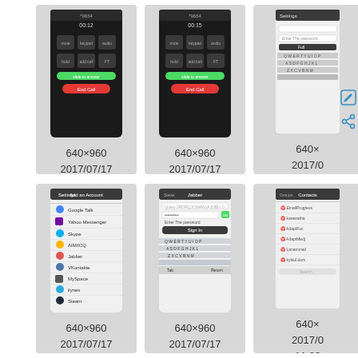[Figure (screenshot): iPhone screenshot of active phone call UI showing call controls and red end call button]
img_0356....
640×960
2017/07/17
11:23
496.5 KB
[Figure (screenshot): iPhone screenshot of active phone call UI showing call controls and red end call button]
img_0357....
640×960
2017/07/17
11:23
496.4 KB
[Figure (screenshot): Partial iPhone screenshot showing keyboard/settings UI, partially cropped]
img_04...
640×
2017/0
11+
19
[Figure (screenshot): iPhone screenshot showing Add an Account menu with options: Google Talk, Yahoo Messenger, Skype, AIM/ICQ, Jabber, VKontakte, MySpace, ilynes, Steam]
img_0409....
640×960
2017/07/17
11:23
[Figure (screenshot): iPhone screenshot showing Jabber account login screen with password field and keyboard]
img_0410....
640×960
2017/07/17
11:23
[Figure (screenshot): Partial iPhone screenshot showing contacts or messages list, partially cropped]
img_04...
640×
2017/0
11:23